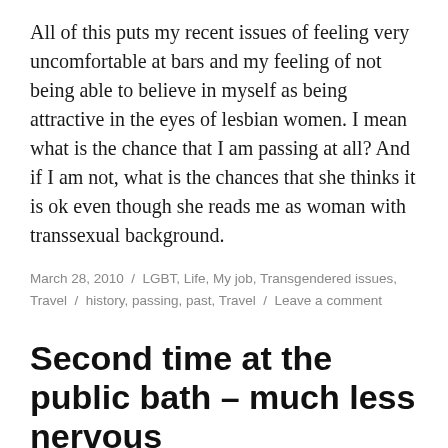All of this puts my recent issues of feeling very uncomfortable at bars and my feeling of not being able to believe in myself as being attractive in the eyes of lesbian women. I mean what is the chance that I am passing at all? And if I am not, what is the chances that she thinks it is ok even though she reads me as woman with transsexual background.
March 28, 2010 / LGBT, Life, My job, Transgendered issues, Travel / history, passing, past, Travel / Leave a comment
Second time at the public bath – much less nervous